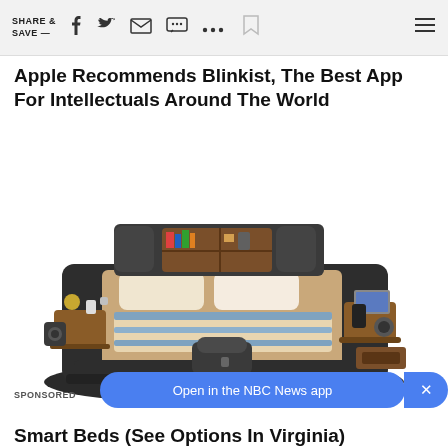SHARE & SAVE —
Apple Recommends Blinkist, The Best App For Intellectuals Around The World
[Figure (photo): A modern luxury smart bed with built-in storage, bookshelves in the headboard, side tables, recliner chair, speakers, and laptop stand — shown in a dark grey upholstered finish with wooden accents.]
SPONSORED
Open in the NBC News app
Smart Beds (See Options In Virginia)